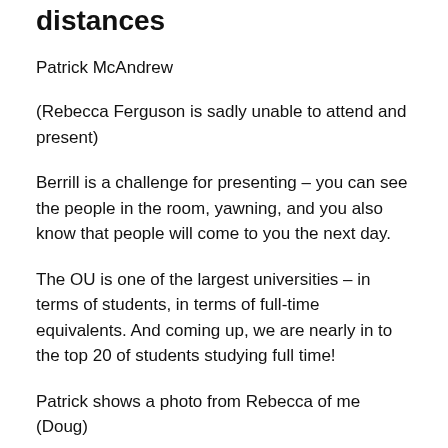distances
Patrick McAndrew
(Rebecca Ferguson is sadly unable to attend and present)
Berrill is a challenge for presenting – you can see the people in the room, yawning, and you also know that people will come to you the next day.
The OU is one of the largest universities – in terms of students, in terms of full-time equivalents. And coming up, we are nearly in to the top 20 of students studying full time!
Patrick shows a photo from Rebecca of me (Doug)